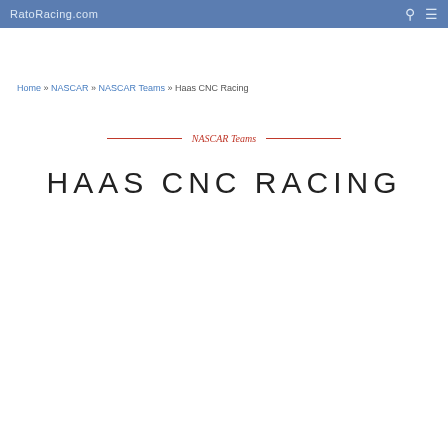RatoRacing.com
Home » NASCAR » NASCAR Teams » Haas CNC Racing
NASCAR Teams
HAAS CNC RACING